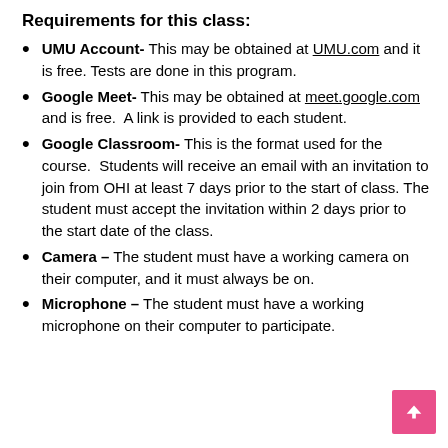Requirements for this class:
UMU Account- This may be obtained at UMU.com and it is free. Tests are done in this program.
Google Meet- This may be obtained at meet.google.com and is free.  A link is provided to each student.
Google Classroom- This is the format used for the course.  Students will receive an email with an invitation to join from OHI at least 7 days prior to the start of class. The student must accept the invitation within 2 days prior to the start date of the class.
Camera – The student must have a working camera on their computer, and it must always be on.
Microphone – The student must have a working microphone on their computer to participate.